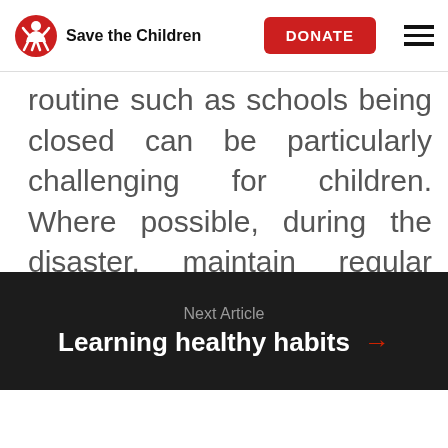Save the Children — DONATE
routine such as schools being closed can be particularly challenging for children. Where possible, during the disaster, maintain regular times for meals and family activities.
Next Article
Learning healthy habits